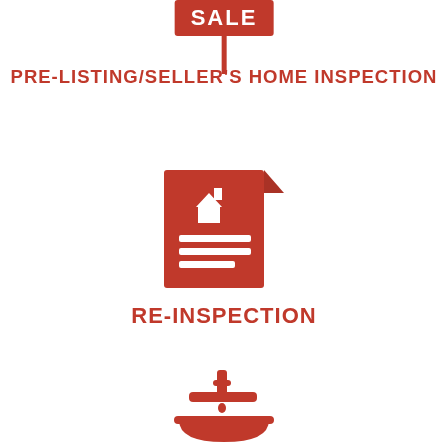[Figure (illustration): Red SALE sign on a pole (real estate for sale sign icon)]
PRE-LISTING/SELLER'S HOME INSPECTION
[Figure (illustration): Red document/report icon with a house symbol on it and text lines]
RE-INSPECTION
[Figure (illustration): Red faucet/sink icon]